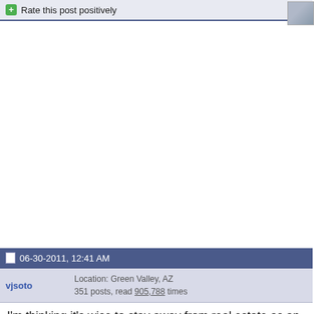Rate this post positively
06-30-2011, 12:41 AM
vjsoto
Location: Green Valley, AZ
351 posts, read 905,788 times
I'm thinking it's wise to stay away from real estate as an investment for the next couple of years. With house prices continuing to fall it's hard to